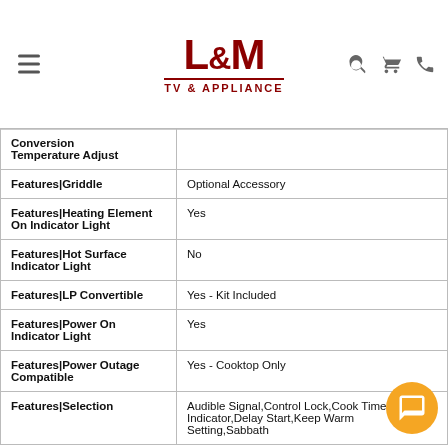L&M TV & APPLIANCE
| Feature | Value |
| --- | --- |
| Conversion Temperature Adjust |  |
| Features|Griddle | Optional Accessory |
| Features|Heating Element On Indicator Light | Yes |
| Features|Hot Surface Indicator Light | No |
| Features|LP Convertible | Yes - Kit Included |
| Features|Power On Indicator Light | Yes |
| Features|Power Outage Compatible | Yes - Cooktop Only |
| Features|Selection | Audible Signal,Control Lock,Cook Time Indicator,Delay Start,Keep Warm Setting,Sabbath |